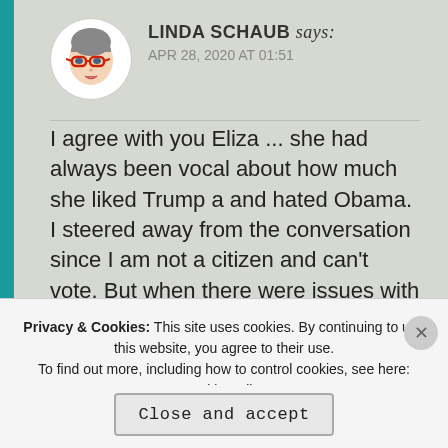[Figure (illustration): Circular avatar illustration of a woman with glasses and red frames]
LINDA SCHAUB says:
APR 28, 2020 AT 01:51
I agree with you Eliza ... she had always been vocal about how much she liked Trump a and hated Obama. I steered away from the conversation since I am not a citizen and can't vote. But when there were issues with letting our governor declare a state of emergency because she was a Democrat and a woman and he said this .. I had to say something. I have two high
Privacy & Cookies: This site uses cookies. By continuing to use this website, you agree to their use.
To find out more, including how to control cookies, see here: Cookie Policy
Close and accept